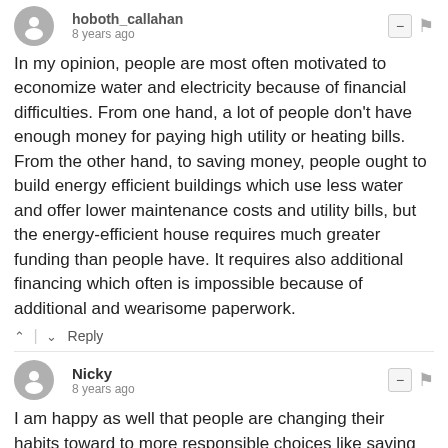hoboth_callahan · 8 years ago
In my opinion, people are most often motivated to economize water and electricity because of financial difficulties. From one hand, a lot of people don't have enough money for paying high utility or heating bills. From the other hand, to saving money, people ought to build energy efficient buildings which use less water and offer lower maintenance costs and utility bills, but the energy-efficient house requires much greater funding than people have. It requires also additional financing which often is impossible because of additional and wearisome paperwork.
^ | v  Reply
Nicky · 8 years ago
I am happy as well that people are changing their habits toward to more responsible choices like saving water or electricity because we need to be aware of the future risks which we are exposed, e.g. air pollution, greenhouse effect, ozone hole etc.
^ | v  Reply